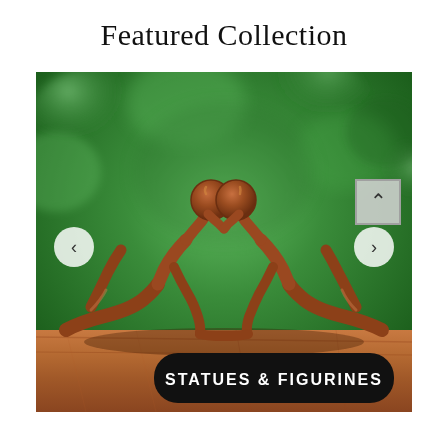Featured Collection
[Figure (photo): A wooden sculpture of two stylized human figures lying face to face and kissing, placed on a wooden surface with a blurred green foliage background. Navigation arrows on left and right sides of the image. A scroll-to-top button in upper right corner.]
Statues & Figurines